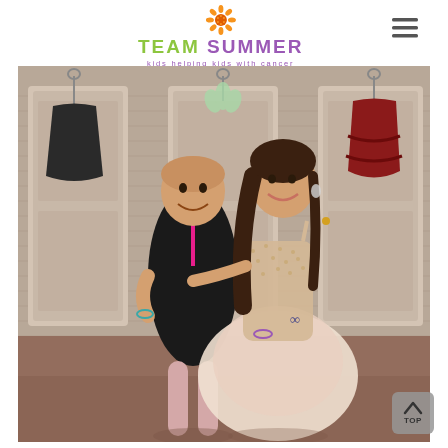[Figure (logo): Team Summer logo: orange sunflower graphic above the text 'TEAM SUMMER' in green and purple, with tagline 'kids helping kids with cancer' in purple below]
[Figure (photo): Two girls in a dance studio. A younger girl wearing a black and pink leotard with a shaved head stands with her hand on her hip, smiling. An older girl/young woman wearing a sparkly beige/gold ballgown with a tulle skirt stands behind her with her arm around her. In the background are dance studio changing room doors with costumes hanging on them.]